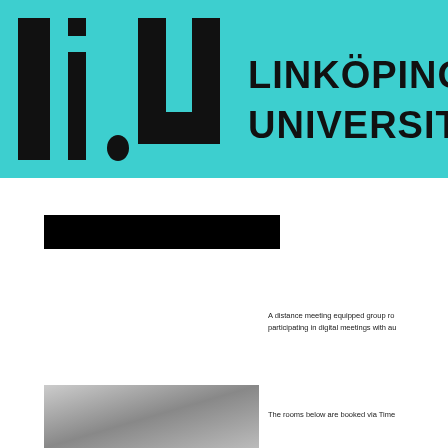[Figure (logo): Linköping University logo on teal/turquoise background. Stylized 'liu' lettering in black on left, and text 'LINKÖPING UNIVERSITY' in bold sans-serif on right.]
[Figure (other): Black redacted/blocked rectangle below the logo banner.]
A distance meeting equipped group ro... participating in digital meetings with au...
[Figure (photo): Partial photo of a meeting room, grey tones visible.]
The rooms below are booked via Time...